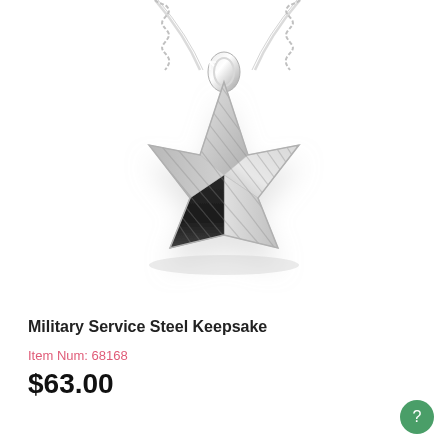[Figure (photo): A silver military star pendant necklace on a silver chain, with a faceted diamond-cut star shape, photographed on a white background.]
Military Service Steel Keepsake
Item Num: 68168
$63.00